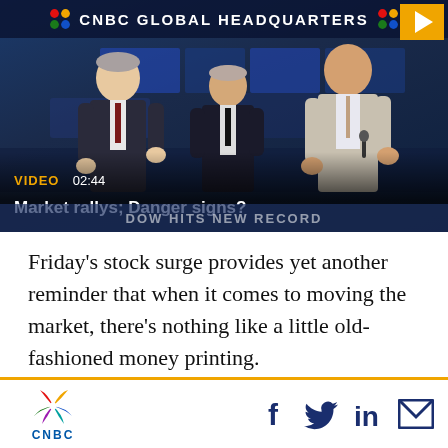[Figure (screenshot): CNBC video thumbnail showing three men in suits at CNBC Global Headquarters studio. Header reads 'CNBC GLOBAL HEADQUARTERS'. Video label shows 'VIDEO 02:44'. Title reads 'Market rallys; Danger signs?'. Bottom ticker shows 'DOW HITS NEW RECORD'. Play button in top right corner.]
Friday’s stock surge provides yet another reminder that when it comes to moving the market, there’s nothing like a little old-fashioned money printing.
Wh...
CNBC  f  Twitter  in  Email